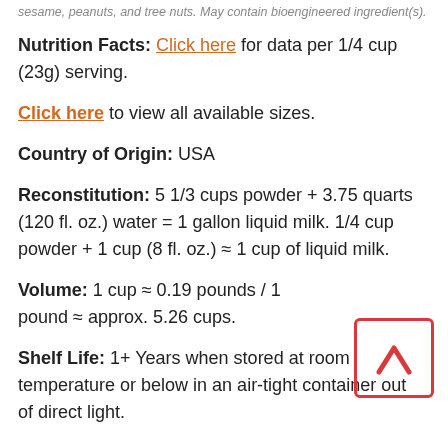sesame, peanuts, and tree nuts. May contain bioengineered ingredient(s).
Nutrition Facts: Click here for data per 1/4 cup (23g) serving.
Click here to view all available sizes.
Country of Origin: USA
Reconstitution: 5 1/3 cups powder + 3.75 quarts (120 fl. oz.) water = 1 gallon liquid milk. 1/4 cup powder + 1 cup (8 fl. oz.) ≈ 1 cup of liquid milk.
Volume: 1 cup ≈ 0.19 pounds / 1 pound ≈ approx. 5.26 cups.
Shelf Life: 1+ Years when stored at room temperature or below in an air-tight container out of direct light.